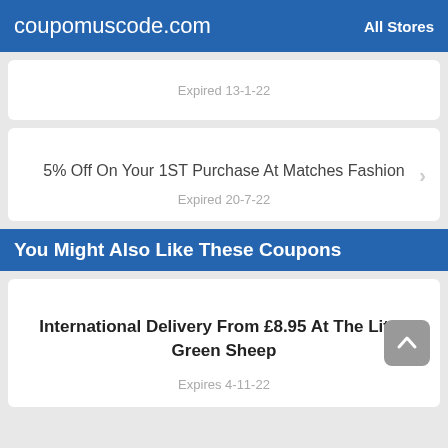coupomuscode.com   All Stores
Expired 13-1-22
5% Off On Your 1ST Purchase At Matches Fashion
Expired 20-7-22
You Might Also Like These Coupons
International Delivery From £8.95 At The Little Green Sheep
Expires 4-11-22